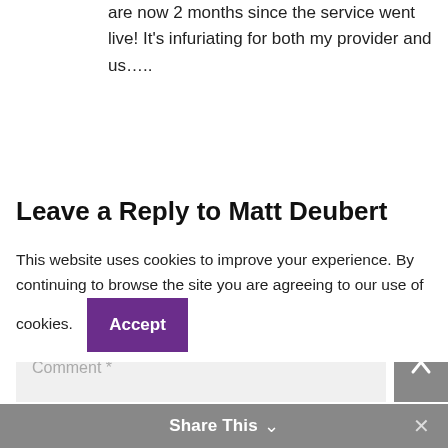are now 2 months since the service went live! It's infuriating for both my provider and us…..
Leave a Reply to Matt Deubert
Cancel reply
Your email address will not be published. Required fields are marked *
Comment *
This website uses cookies to improve your experience. By continuing to browse the site you are agreeing to our use of cookies.
Accept
Share This